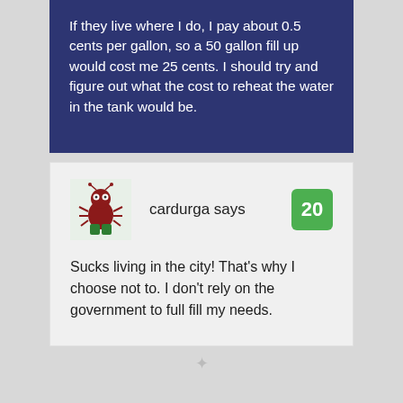If they live where I do, I pay about 0.5 cents per gallon, so a 50 gallon fill up would cost me 25 cents. I should try and figure out what the cost to reheat the water in the tank would be.
cardurga says
[Figure (illustration): Avatar icon of a cartoon red bug/ant character with green pants on a light green background]
Sucks living in the city! That's why I choose not to. I don't rely on the government to full fill my needs.